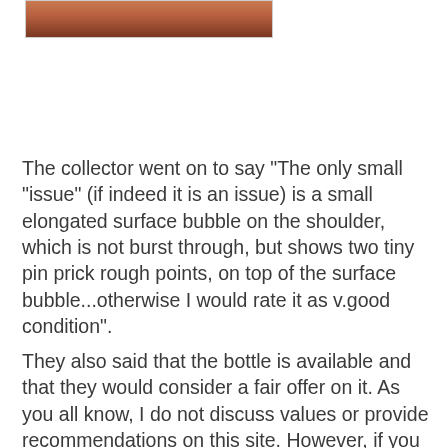[Figure (photo): Partial view of a colored glass bottle shoulder area, cropped at top of page]
The collector went on to say "The only small "issue" (if indeed it is an issue) is a small elongated surface bubble on the shoulder, which is not burst through, but shows two tiny pin prick rough points, on top of the surface bubble...otherwise I would rate it as v.good condition".
They also said that the bottle is available and that they would consider a fair offer on it. As you all know, I do not discuss values or provide recommendations on this site. However, if you are interested, as a service to the collecting community, I'll be happy to forward your emails on to the owner and let you work